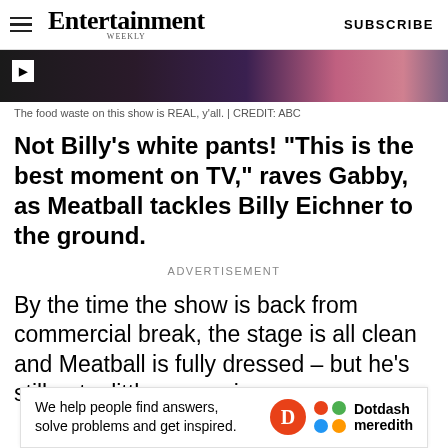Entertainment Weekly | SUBSCRIBE
[Figure (photo): Partial image strip showing a colorful scene, likely from a TV show, with a play icon in the top-left corner.]
The food waste on this show is REAL, y'all. | CREDIT: ABC
Not Billy's white pants! "This is the best moment on TV," raves Gabby, as Meatball tackles Billy Eichner to the ground.
ADVERTISEMENT
By the time the show is back from commercial break, the stage is all clean and Meatball is fully dressed – but he's still got a little sauce ring arou... expla...
[Figure (other): Dotdash Meredith advertisement banner: 'We help people find answers, solve problems and get inspired.']